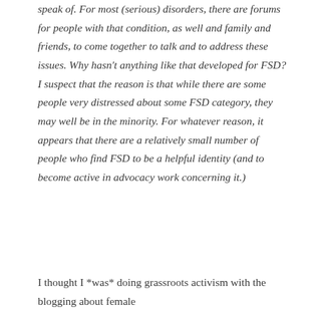speak of. For most (serious) disorders, there are forums for people with that condition, as well and family and friends, to come together to talk and to address these issues. Why hasn't anything like that developed for FSD? I suspect that the reason is that while there are some people very distressed about some FSD category, they may well be in the minority. For whatever reason, it appears that there are a relatively small number of people who find FSD to be a helpful identity (and to become active in advocacy work concerning it.)
I thought I *was* doing grassroots activism with the blogging about female